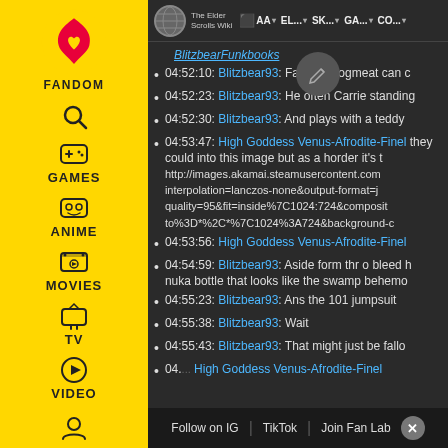The Elder Scrolls Wiki | AA | EL... | SK... | GA... | CO...
04:52:10: Blitzbear93: Fallout r dogmeat can c
04:52:23: Blitzbear93: He often Carrie standing
04:52:30: Blitzbear93: And plays with a teddy
04:53:47: High Goddess Venus-Afrodite-Finel they could into this image but as a horder it's t http://images.akamai.steamusercontent.com interpolation=lanczos-none&output-format=j quality=95&fit=inside%7C1024:724&composit to%3D*%2C*%7C1024%3A724&background-c
04:53:56: High Goddess Venus-Afrodite-Finel
04:54:59: Blitzbear93: Aside form thr o bleed h nuka bottle that looks like the swamp behemo
04:55:23: Blitzbear93: Ans the 101 jumpsuit
04:55:38: Blitzbear93: Wait
04:55:43: Blitzbear93: That might just be fallo
04:...: High Goddess Venus-Afrodite-Finel
Follow on IG | TikTok | Join Fan Lab